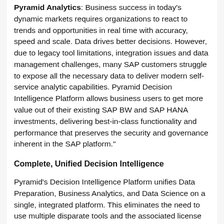Pyramid Analytics: Business success in today's dynamic markets requires organizations to react to trends and opportunities in real time with accuracy, speed and scale. Data drives better decisions. However, due to legacy tool limitations, integration issues and data management challenges, many SAP customers struggle to expose all the necessary data to deliver modern self-service analytic capabilities. Pyramid Decision Intelligence Platform allows business users to get more value out of their existing SAP BW and SAP HANA investments, delivering best-in-class functionality and performance that preserves the security and governance inherent in the SAP platform.
Complete, Unified Decision Intelligence
Pyramid's Decision Intelligence Platform unifies Data Preparation, Business Analytics, and Data Science on a single, integrated platform. This eliminates the need to use multiple disparate tools and the associated license cost and management complexity. Lower Total Cost of Ownership (TCO), rapid rollout, quicker and direct access to all available data, and industry-leading user adoption means faster time to value. Pyramid's Decision Intelligence